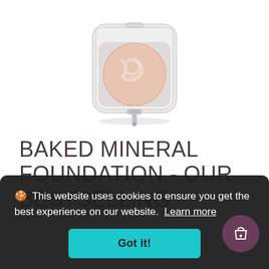[Figure (photo): A baked mineral foundation compact with a white square case and a round peachy-pink powder pan, slightly open showing the powder inside.]
BAKED MINERAL FOUNDATION - OUR BESTSELLING
🍪 This website uses cookies to ensure you get the best experience on our website. Learn more
Got it!